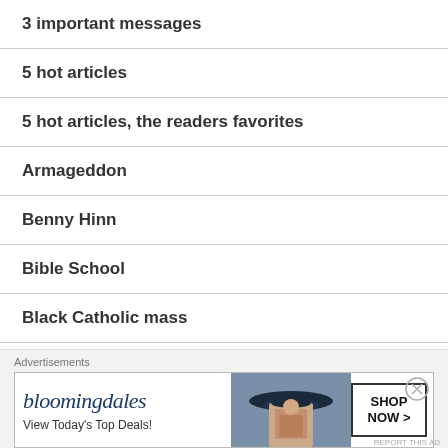3 important messages
5 hot articles
5 hot articles, the readers favorites
Armageddon
Benny Hinn
Bible School
Black Catholic mass
[Figure (screenshot): Bloomingdale's advertisement banner: 'View Today's Top Deals!' with SHOP NOW > button and woman wearing wide-brim hat image.]